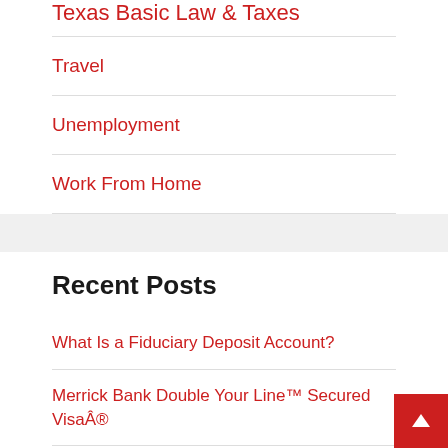Texas Basic Law & Taxes
Travel
Unemployment
Work From Home
Recent Posts
What Is a Fiduciary Deposit Account?
Merrick Bank Double Your Line™ Secured VisaÂ®
10 Ways to Master a Virtual Career Fair (+